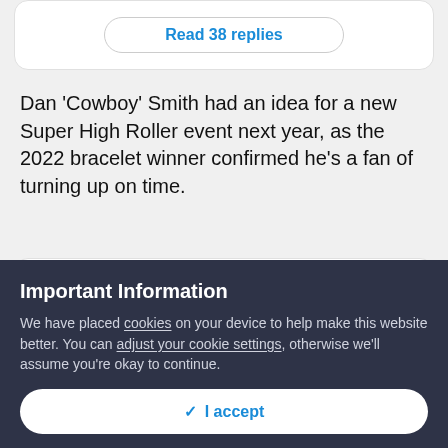[Figure (screenshot): Button reading 'Read 38 replies' with rounded border]
Dan ‘Cowboy’ Smith had an idea for a new Super High Roller event next year, as the 2022 bracelet winner confirmed he’s a fan of turning up on time.
[Figure (screenshot): Embedded tweet by Dan Smith (@DanSmithHolla) with verified badge and Follow link, Twitter bird logo top right]
Important Information
We have placed cookies on your device to help make this website better. You can adjust your cookie settings, otherwise we’ll assume you’re okay to continue.
[Figure (screenshot): Cookie consent accept button with checkmark icon and 'I accept' text]